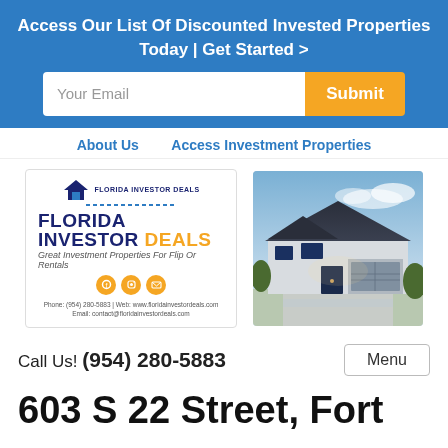Access Our List Of Discounted Invested Properties Today | Get Started >
[Figure (screenshot): Email input field with placeholder 'Your Email' and orange Submit button]
About Us    Access Investment Properties
[Figure (logo): Florida Investor Deals logo card with house icon, brand name, tagline 'Great Investment Properties For Flip Or Rentals', contact icons, phone and email]
[Figure (photo): Photo of a residential house with blue siding and garage doors at dusk]
Call Us! (954) 280-5883
Menu
603 S 22 Street, Fort